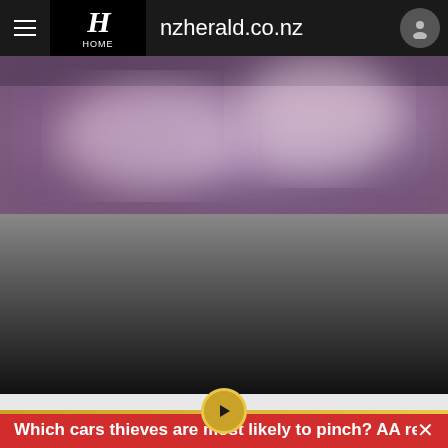nzherald.co.nz
[Figure (photo): Blurry purple and pink toned image, likely a night scene or video thumbnail with soft bokeh lighting]
[Figure (screenshot): Dark grey to black gradient area representing a video player or dimmed content area]
Which cars thieves are most likely to pinch? AA reveals s